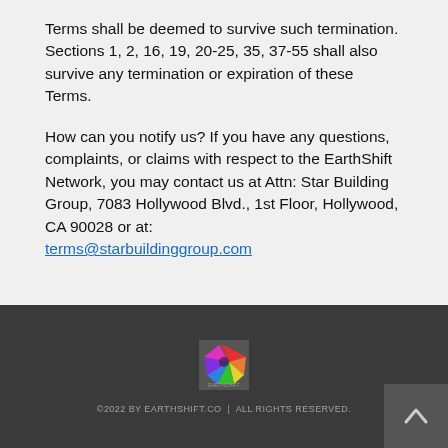Terms shall be deemed to survive such termination. Sections 1, 2, 16, 19, 20-25, 35, 37-55 shall also survive any termination or expiration of these Terms.
How can you notify us? If you have any questions, complaints, or claims with respect to the EarthShift Network, you may contact us at Attn: Star Building Group, 7083 Hollywood Blvd., 1st Floor, Hollywood, CA 90028 or at: terms@starbuildinggroup.com
[Figure (logo): EarthShift Network logo — multicolored star/pinwheel shape on dark background]
©2022 BY EARTHSHIFT.CO  |  ALL RIGHTS RESERVED.